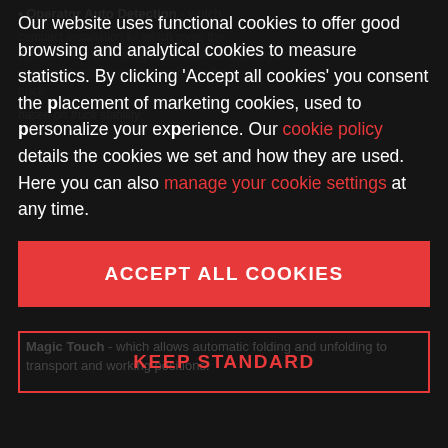Operator Auto Detection - which...
Our website uses functional cookies to offer good browsing and analytical cookies to measure statistics. By clicking 'Accept all cookies' you consent the placement of marketing cookies, used to personalize your experience. Our cookie policy details the cookies we set and how they are used. Here you can also manage your cookie settings at any time.
ACCEPT ALL COOKIES
Magic Touch - which allows automatic folding and unfolding to transport and working positions.
KEEP STANDARD